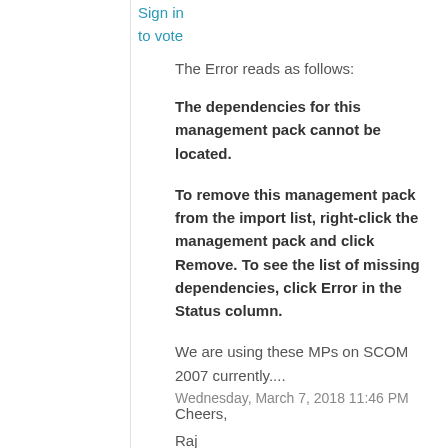Sign in
to vote
The Error reads as follows:
The dependencies for this management pack cannot be located.
To remove this management pack from the import list, right-click the management pack and click Remove. To see the list of missing dependencies, click Error in the Status column.
We are using these MPs on SCOM 2007 currently....
Cheers,
Raj
Wednesday, March 7, 2018 11:46 PM